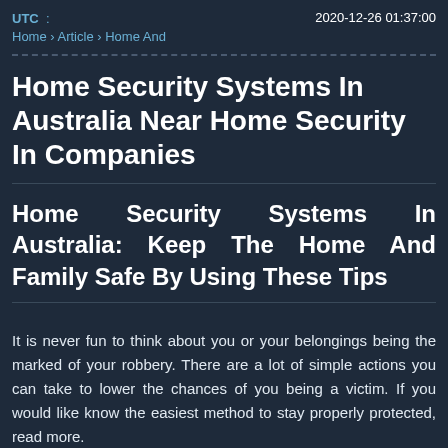UTC : 2020-12-26 01:37:00
Home › Article › Home And
Home Security Systems In Australia Near Home Security In Companies
Home Security Systems In Australia: Keep The Home And Family Safe By Using These Tips
It is never fun to think about you or your belongings being the marked of your robbery. There are a lot of simple actions you can take to lower the chances of you being a victim. If you would like know the easiest method to stay properly protected, read more.